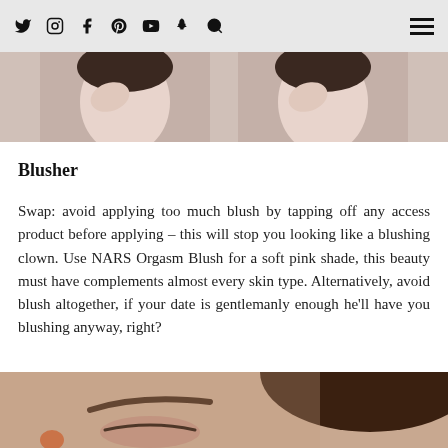[Social icons: Twitter, Instagram, Facebook, Pinterest, YouTube, Snapchat, Search] [Hamburger menu]
[Figure (photo): Two side-by-side photos of a woman touching her face, demonstrating makeup application technique]
Blusher
Swap: avoid applying too much blush by tapping off any access product before applying – this will stop you looking like a blushing clown. Use NARS Orgasm Blush for a soft pink shade, this beauty must have complements almost every skin type. Alternatively, avoid blush altogether, if your date is gentlemanly enough he’ll have you blushing anyway, right?
[Figure (photo): Close-up photo of a woman's face showing eyebrow and eye area with natural makeup]